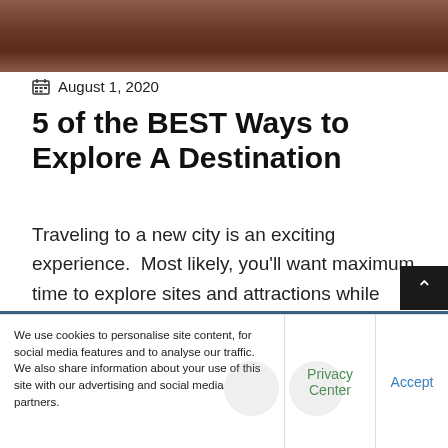[Figure (photo): Top portion of a photo showing what appears to be a vehicle or transport scene with rust/metal tones, cropped at the top of the page]
August 1, 2020
5 of the BEST Ways to Explore A Destination
Traveling to a new city is an exciting experience.  Most likely, you'll want maximum time to explore sites and attractions while
We use cookies to personalise site content, for social media features and to analyse our traffic. We also share information about your use of this site with our advertising and social media partners.
Privacy Center
Accept